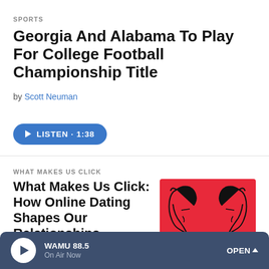SPORTS
Georgia And Alabama To Play For College Football Championship Title
by Scott Neuman
[Figure (other): Blue pill-shaped button with play icon and text LISTEN · 1:38]
WHAT MAKES US CLICK
What Makes Us Click: How Online Dating Shapes Our Relationships
by Laura Roman , Ashley Brown , Alyssa Edes
[Figure (illustration): Red background illustration of two stylized face profiles facing each other, connected by a cord, with small rectangular devices at the bottom corners.]
WAMU 88.5 | On Air Now | OPEN